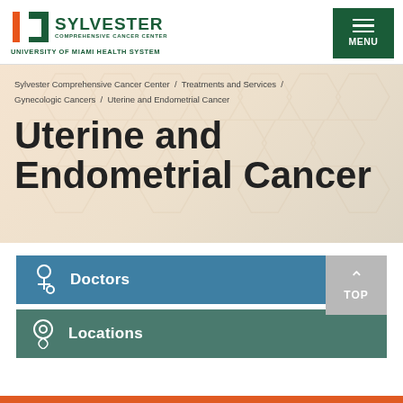[Figure (logo): Sylvester Comprehensive Cancer Center - University of Miami Health System logo with orange/green U mark]
[Figure (other): Green menu button with hamburger icon and MENU text]
Sylvester Comprehensive Cancer Center / Treatments and Services / Gynecologic Cancers / Uterine and Endometrial Cancer
Uterine and Endometrial Cancer
Doctors
Locations